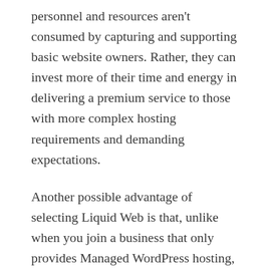personnel and resources aren't consumed by capturing and supporting basic website owners. Rather, they can invest more of their time and energy in delivering a premium service to those with more complex hosting requirements and demanding expectations.
Another possible advantage of selecting Liquid Web is that, unlike when you join a business that only provides Managed WordPress hosting, you must get access to staff with a broader variety of understanding, covering a larger range of high-end hosting services and options not just Managed WordPress hosting.
Because of this, if the ti...